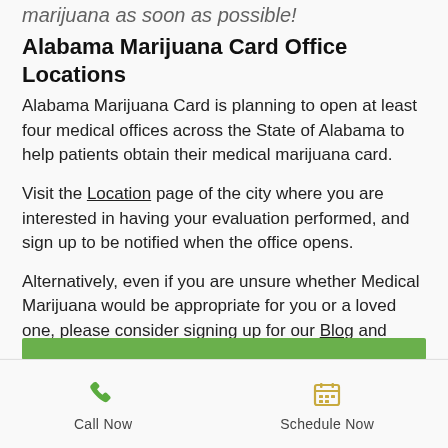marijuana as soon as possible!
Alabama Marijuana Card Office Locations
Alabama Marijuana Card is planning to open at least four medical offices across the State of Alabama to help patients obtain their medical marijuana card.
Visit the Location page of the city where you are interested in having your evaluation performed, and sign up to be notified when the office opens.
Alternatively, even if you are unsure whether Medical Marijuana would be appropriate for you or a loved one, please consider signing up for our Blog and newsletter so you can stay in the loop with developments.
[Figure (other): Green horizontal bar divider]
[Figure (infographic): Bottom navigation bar with Call Now (phone icon) and Schedule Now (calendar icon) buttons]